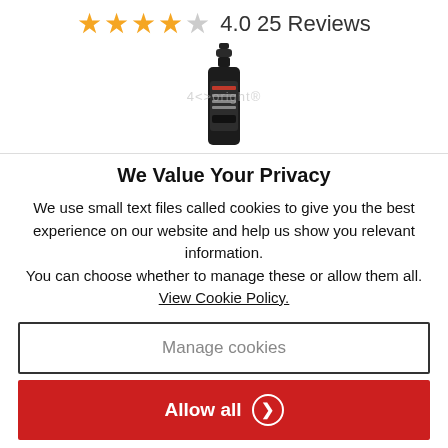[Figure (other): Star rating: 4 filled orange stars and 1 empty gray star, rating 4.0, 25 Reviews]
[Figure (photo): Product bottle - dark spray bottle with label]
We Value Your Privacy
We use small text files called cookies to give you the best experience on our website and help us show you relevant information.
You can choose whether to manage these or allow them all.
View Cookie Policy.
Manage cookies
Allow all